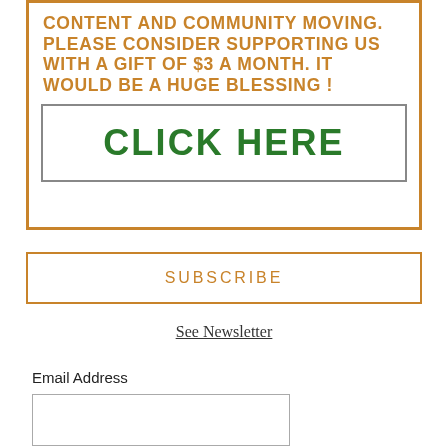CONTENT AND COMMUNITY MOVING. PLEASE CONSIDER SUPPORTING US WITH A GIFT OF $3 A MONTH. IT WOULD BE A HUGE BLESSING !
[Figure (other): Green bold 'CLICK HERE' button inside a gray-bordered rectangle]
SUBSCRIBE
See Newsletter
Email Address